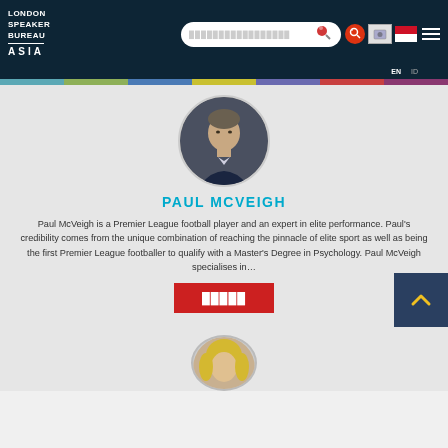London Speaker Bureau Asia
[Figure (photo): Paul McVeigh headshot, circular cropped, man in suit]
PAUL MCVEIGH
Paul McVeigh is a Premier League football player and an expert in elite performance. Paul's credibility comes from the unique combination of reaching the pinnacle of elite sport as well as being the first Premier League footballer to qualify with a Master's Degree in Psychology. Paul McVeigh specialises in…
[Figure (photo): Female speaker headshot, circular cropped, at bottom of page]